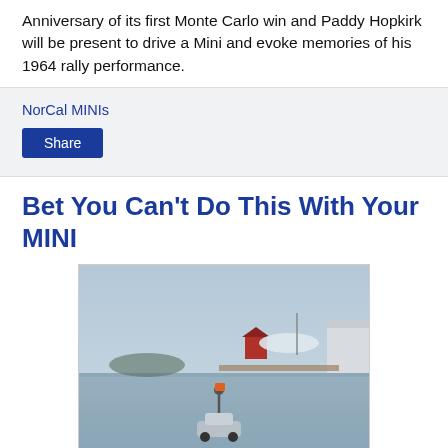Anniversary of its first Monte Carlo win and Paddy Hopkirk will be present to drive a Mini and evoke memories of his 1964 rally performance.
NorCal MINIs
Share
Bet You Can't Do This With Your MINI
[Figure (photo): A silver MINI car driving on a frozen harbor/bay with a person standing on top holding something orange. In the background there is a red barn/shed building, a boat with white covering, trees on a small island, and a white building on the right.]